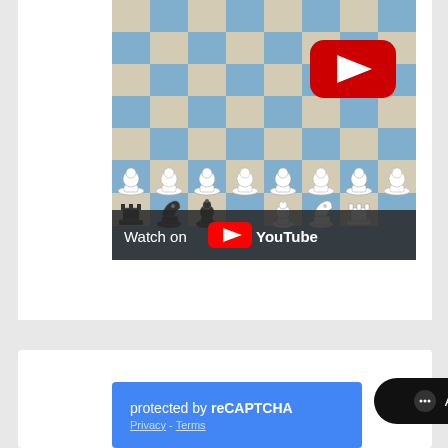[Figure (screenshot): A chess board video thumbnail with chess pieces on the bottom two rows. A YouTube play button (red rounded rectangle with white triangle) is visible in the upper right of the board. A 'Watch on YouTube' overlay bar appears at the bottom of the thumbnail.]
[Figure (screenshot): A blue reCAPTCHA badge reading 'protected by reCAPTCHA' with 'Privacy - Terms' links below, and a black rounded pill button reading 'Agent Offline' with a chat bubble icon.]